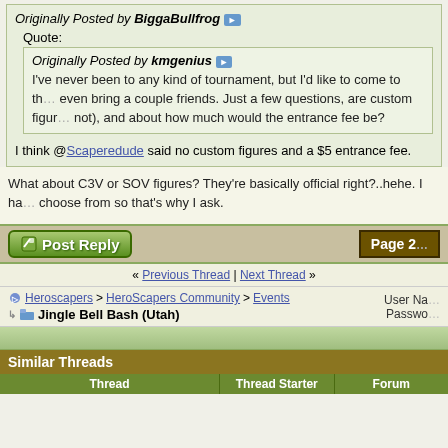Originally Posted by BiggaBullfrog
Quote:
Originally Posted by kmgenius
I've never been to any kind of tournament, but I'd like to come to th... even bring a couple friends. Just a few questions, are custom figur... not), and about how much would the entrance fee be?
I think @Scaperedude said no custom figures and a $5 entrance fee.
What about C3V or SOV figures? They're basically official right?..hehe. I ha... choose from so that's why I ask.
[Figure (screenshot): Forum navigation bar with Post Reply button and Page 2 indicator]
« Previous Thread | Next Thread »
Heroscapers > HeroScapers Community > Events
Jingle Bell Bash (Utah)
User Na... Passwo...
Similar Threads
| Thread | Thread Starter | Forum |
| --- | --- | --- |